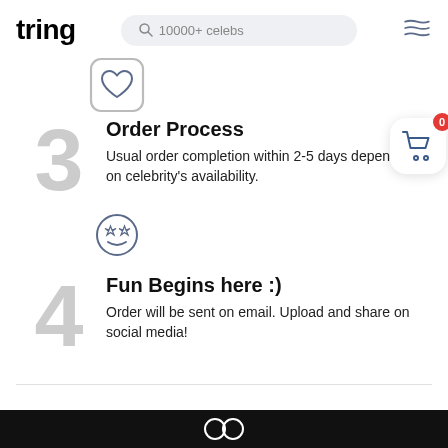tring | 10000+ celebs
[Figure (illustration): Heart icon inside a rounded square border]
Order Process
Usual order completion within 2-5 days depending on celebrity's availability.
[Figure (illustration): Star-eyes smiley face icon]
Fun Begins here :)
Order will be sent on email. Upload and share on social media!
[Figure (illustration): Shopping cart icon with badge showing 0]